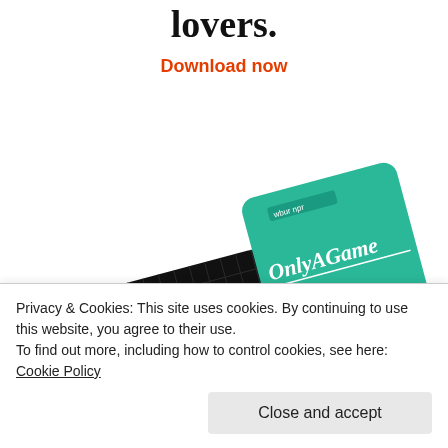lovers.
Download now
[Figure (illustration): Collage of podcast app icons/covers shown at an angle: a black card with grid pattern and yellow square labeled '99% Invisible', a teal card labeled 'Only A Game' with wbur/npr branding, a blue card partially showing 'The ..ly', and a red card partially showing 'Thi... An...']
Privacy & Cookies: This site uses cookies. By continuing to use this website, you agree to their use.
To find out more, including how to control cookies, see here: Cookie Policy
Close and accept